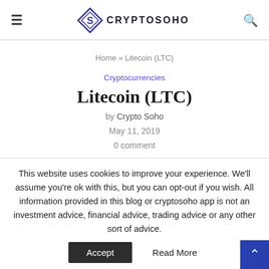CRYPTOSOHO
Home » Litecoin (LTC)
Cryptocurrencies
Litecoin (LTC)
by Crypto Soho
May 11, 2019
0 comment
5 / 5 ( 1 vote )
This website uses cookies to improve your experience. We'll assume you're ok with this, but you can opt-out if you wish. All information provided in this blog or cryptosoho app is not an investment advice, financial advice, trading advice or any other sort of advice.